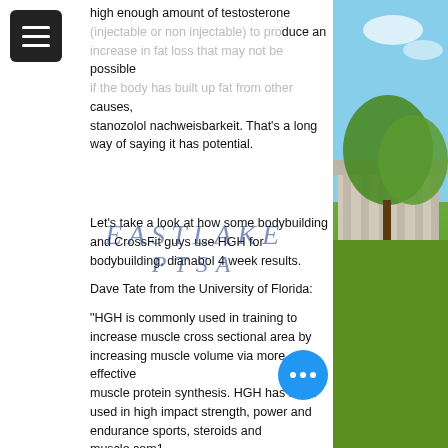[Figure (photo): Right side photo showing blue sky, trees, and a classical building with columns]
high enough amount of testosterone (injectable or non injectable) to produce an increase in fat loss that may not be possible if the body has built up fat from other causes, stanozolol nachweisbarkeit. That's a long way of saying it has potential.
[Figure (logo): EASTLAKE PTSA watermark text in blue serif italic letters]
Let's take a look at how some bodybuilding and CrossFit guys use HGH for bodybuilding, dianabol 4 week results.
Dave Tate from the University of Florida:
"HGH is commonly used in training to increase muscle cross sectional area by increasing muscle volume via more effective muscle protein synthesis. HGH has been used in high impact strength, power and endurance sports, steroids and muscle.com1.
Anabolic fasting review